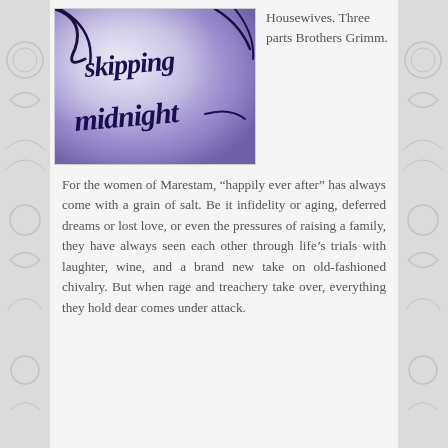[Figure (illustration): Book cover for 'Skipping Midnight' with purple/lavender watercolor background and dark script handwritten title text]
Housewives. Three parts Brothers Grimm.
For the women of Marestam, “happily ever after” has always come with a grain of salt. Be it infidelity or aging, deferred dreams or lost love, or even the pressures of raising a family, they have always seen each other through life’s trials with laughter, wine, and a brand new take on old-fashioned chivalry. But when rage and treachery take over, everything they hold dear comes under attack.